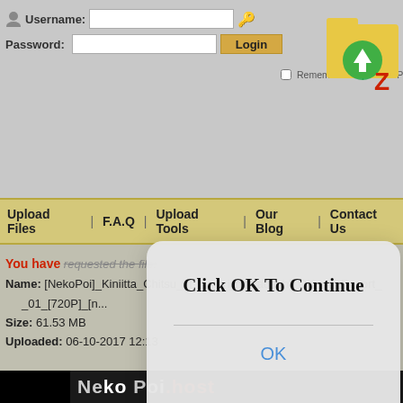[Figure (screenshot): Website screenshot showing a file hosting service login area with username/password fields and a Login button]
Username:
Password:
Remember Me | Forgot Password?
Upload Files | F.A.Q | Upload Tools | Our Blog | Contact Us
[Figure (screenshot): Modal dialog popup with text 'Click OK To Continue' and an OK button]
You have requested the file:
Name: [NekoPoi]_Kiniitta_Chitsu_ni_Ikinari_Nakadashi_OK_na_Resort__01_[720P]_[n...
Size: 61.53 MB
Uploaded: 06-10-2017 12:13
[Figure (logo): NekoPoi.host logo at bottom of page]